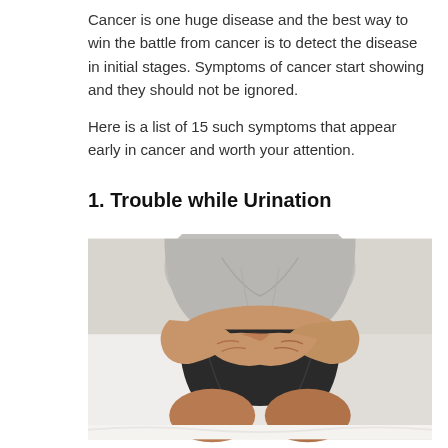Cancer is one huge disease and the best way to win the battle from cancer is to detect the disease in initial stages. Symptoms of cancer start showing and they should not be ignored.

Here is a list of 15 such symptoms that appear early in cancer and worth your attention.
1. Trouble while Urination
[Figure (photo): A person sitting on a bed wearing a grey top and dark shorts, holding their lower abdomen/pelvic area with both hands crossed, suggesting abdominal or urinary discomfort.]